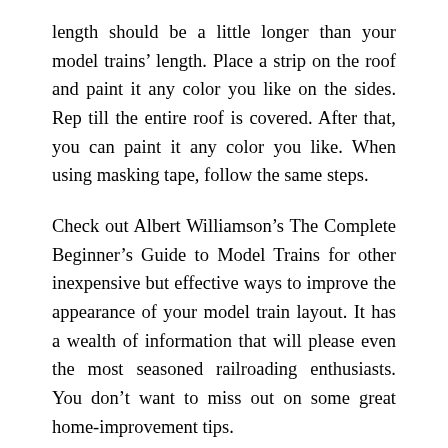length should be a little longer than your model trains' length. Place a strip on the roof and paint it any color you like on the sides. Rep till the entire roof is covered. After that, you can paint it any color you like. When using masking tape, follow the same steps.
Check out Albert Williamson’s The Complete Beginner’s Guide to Model Trains for other inexpensive but effective ways to improve the appearance of your model train layout. It has a wealth of information that will please even the most seasoned railroading enthusiasts. You don’t want to miss out on some great home-improvement tips.